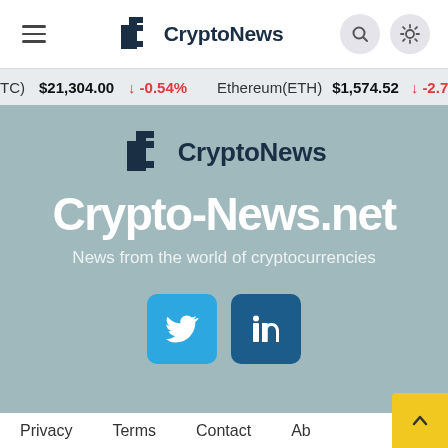CryptoNews navigation header with hamburger menu, logo, search and theme toggle
BTC $21,304.00 ↓ -0.54%   Ethereum(ETH) $1,574.52 ↓ -2.70%
[Figure (logo): CryptoNews logo with pixelated C icon and CryptoNews text]
Crypto-News.net
News from the world of cryptocurrencies
[Figure (other): Twitter and LinkedIn social media buttons]
Privacy   Terms   Contact   About